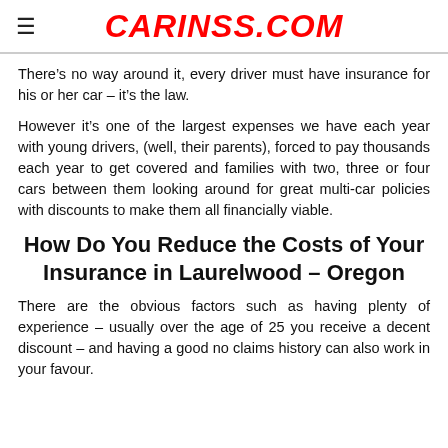CARINSS.COM
There’s no way around it, every driver must have insurance for his or her car – it’s the law.
However it’s one of the largest expenses we have each year with young drivers, (well, their parents), forced to pay thousands each year to get covered and families with two, three or four cars between them looking around for great multi-car policies with discounts to make them all financially viable.
How Do You Reduce the Costs of Your Insurance in Laurelwood – Oregon
There are the obvious factors such as having plenty of experience – usually over the age of 25 you receive a decent discount – and having a good no claims history can also work in your favour.